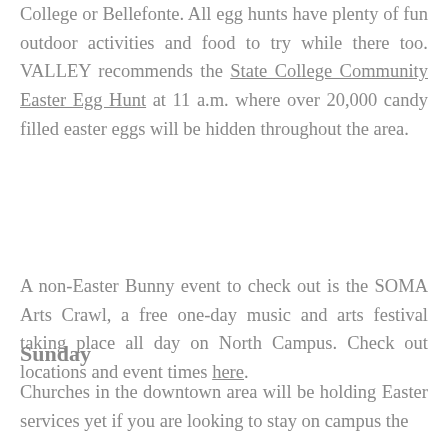College or Bellefonte. All egg hunts have plenty of fun outdoor activities and food to try while there too. VALLEY recommends the State College Community Easter Egg Hunt at 11 a.m. where over 20,000 candy filled easter eggs will be hidden throughout the area.
A non-Easter Bunny event to check out is the SOMA Arts Crawl, a free one-day music and arts festival taking place all day on North Campus. Check out locations and event times here.
Sunday
Churches in the downtown area will be holding Easter services yet if you are looking to stay on campus the